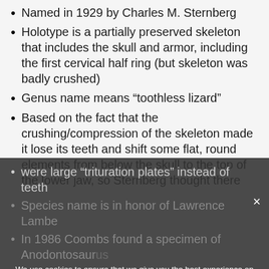Named in 1929 by Charles M. Sternberg
Holotype is a partially preserved skeleton that includes the skull and armor, including the first cervical half ring (but skeleton was badly crushed)
Genus name means “toothless lizard”
Based on the fact that the crushing/compression of the skeleton made it lose its teeth and shift some flat, round elements from below the skull to the top of the lower jaw, so Sternberg thought there were large “trituration plates” instead of teeth
Species name is in honor of Lawrence Lambe
In 1986 Coombs found a specimen of Anodontosaurus as a juvenile, based on sacral ribs not fused to vertebrae (though he considered Anodontosaurus to be
We use cookies to ensure that we give you the best experience on our website. If you continue to use this site we will assume that you are happy with it.